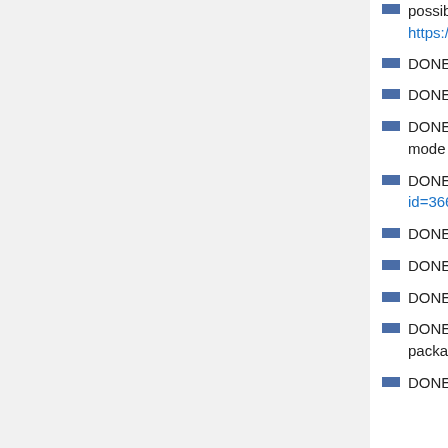possible fix: https://patchwork.kernel.org/patch/8063330...
DONE: Implement CONFIG_DEBUG_STACK_USAGE, in kernel 4.6
DONE: Use 32bit exception table entries, in kernel 4.6
DONE: implemented seccomp syscal, including SECCOMP_MODE_STRICT and mode 2
DONE: Fixed FTRACE support (http://git.kernel.org/cgit/linux/kernel/git/torv...id=366dd4ea9d5f0eb78fdf4982d76506f994...)
DONE: Add syscall ftrace support
DONE: Simplify get_user()/put_user() with regard to %sr0/%sr2 usage.
DONE: Add tracehook support (needed for seccomp testcases, gdb, ...)
DONE: Added high-resolution sched_clock clocksources in 4.7, needed for debian packages: ismrmrd, haskell-http-conduit, ...
DONE: Detect physically broken